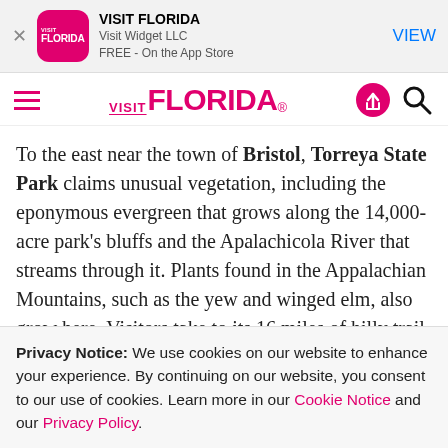[Figure (screenshot): App store banner for VISIT FLORIDA app by Visit Widget LLC, free on the App Store, with a pink app icon and VIEW button]
VISIT FLORIDA navigation bar with hamburger menu, VISIT FLORIDA logo in pink, share and search icons
To the east near the town of Bristol, Torreya State Park claims unusual vegetation, including the eponymous evergreen that grows along the 14,000-acre park's bluffs and the Apalachicola River that streams through it. Plants found in the Appalachian Mountains, such as the yew and winged elm, also grow here. Visitors take to its 16 miles of hilly trail and tour its antebellum Gregory House. Camping facilities include a
Privacy Notice: We use cookies on our website to enhance your experience. By continuing on our website, you consent to our use of cookies. Learn more in our Cookie Notice and our Privacy Policy.